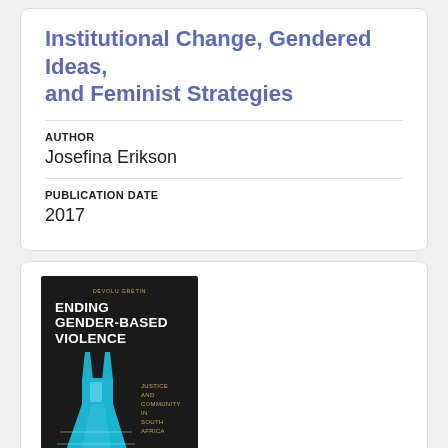Institutional Change, Gendered Ideas, and Feminist Strategies
AUTHOR
Josefina Erikson
PUBLICATION DATE
2017
[Figure (photo): Book cover of 'Ending Gender-Based Violence: Justice and Community in South Africa' showing a turquoise/blue dress on a dark background]